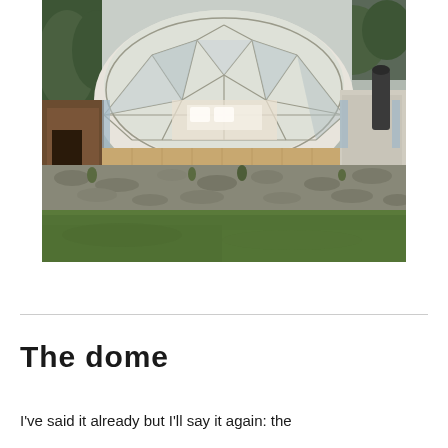[Figure (photo): Exterior photograph of a geodesic dome glamping structure with a transparent/semi-transparent faceted dome, wooden decking and walls, situated on a hillside with rocky/gravelled terrain in the foreground and a green grass lawn below. Trees visible in background.]
The dome
I've said it already but I'll say it again: the